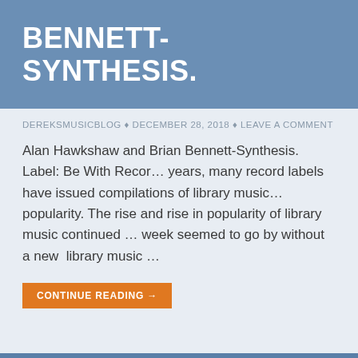BENNETT-SYNTHESIS.
DEREKSMUSICBLOG ♦ DECEMBER 28, 2018 ♦ LEAVE A COMMENT
Alan Hawkshaw and Brian Bennett-Synthesis. Label: Be With Records. In recent years, many record labels have issued compilations of library music due to its increasing popularity. The rise and rise in popularity of library music continued and hardly a week seemed to go by without a new library music …
CONTINUE READING →
MAXINE BROWN-THE BEST OF THE WAND YEARS-VINYL.
DEREKSMUSICBLOG ♦ DECEMBER 27, 2018 ♦ LEAVE A COMMENT